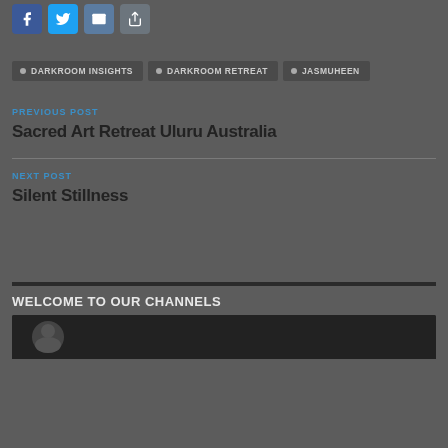[Figure (other): Social media share buttons: Facebook, Twitter, Email, Share]
DARKROOM INSIGHTS
DARKROOM RETREAT
JASMUHEEN
PREVIOUS POST
Sacred Art Retreat Uluru Australia
NEXT POST
Silent Stillness
WELCOME TO OUR CHANNELS
[Figure (photo): Bottom image thumbnail, partially visible]